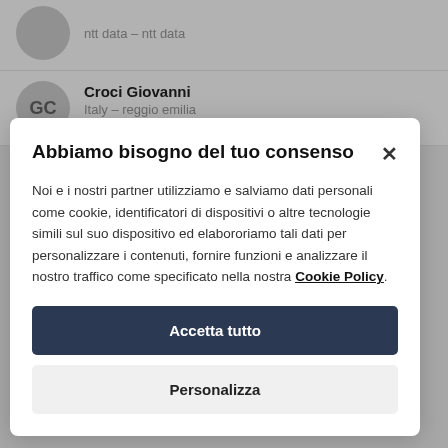ntt data - ntt data
Croci Giovanni
Italy - reggio emilia
errevi system - errevi system
Abbiamo bisogno del tuo consenso
Noi e i nostri partner utilizziamo e salviamo dati personali come cookie, identificatori di dispositivi o altre tecnologie simili sul suo dispositivo ed elabororiamo tali dati per personalizzare i contenuti, fornire funzioni e analizzare il nostro traffico come specificato nella nostra Cookie Policy.
Accetta tutto
Personalizza